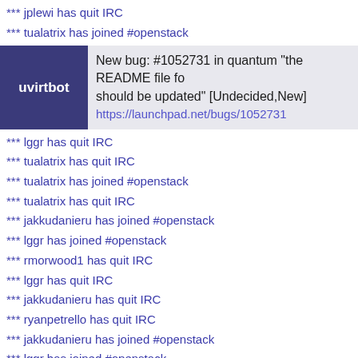*** jplewi has quit IRC
*** tualatrix has joined #openstack
uvirtbot: New bug: #1052731 in quantum "the README file fo should be updated" [Undecided,New] https://launchpad.net/bugs/1052731
*** lggr has quit IRC
*** tualatrix has quit IRC
*** tualatrix has joined #openstack
*** tualatrix has quit IRC
*** jakkudanieru has joined #openstack
*** lggr has joined #openstack
*** rmorwood1 has quit IRC
*** lggr has quit IRC
*** jakkudanieru has quit IRC
*** ryanpetrello has quit IRC
*** jakkudanieru has joined #openstack
*** lggr has joined #openstack
*** tualatrix has joined #openstack
*** imsplitbit has joined #openstack
*** jedipunkz has quit IRC
*** imsplitbit has quit IRC
*** TheSphinX^ has quit IRC
*** imsplitbit has joined #openstack